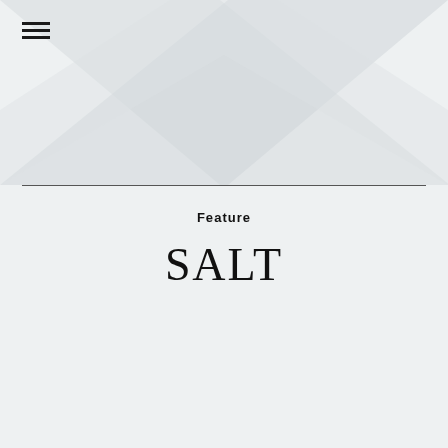[Figure (illustration): Large decorative X shape made of two overlapping chevron/triangle forms in light gray, spanning the upper half of the page as a background graphic]
Feature
SALT